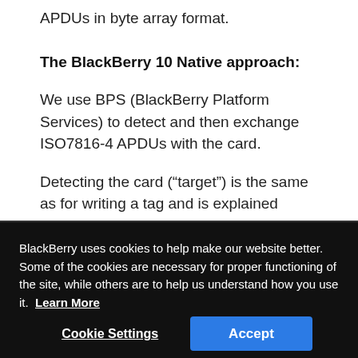APDUs in byte array format.
The BlackBerry 10 Native approach:
We use BPS (BlackBerry Platform Services) to detect and then exchange ISO7816-4 APDUs with the card.
Detecting the card (“target”) is the same as for writing a tag and is explained elsewhere in this guide. Exchanging APDUs with the card is shown in the following code fragment which formulates and
BlackBerry uses cookies to help make our website better. Some of the cookies are necessary for proper functioning of the site, while others are to help us understand how you use it.  Learn More
Cookie Settings
Accept